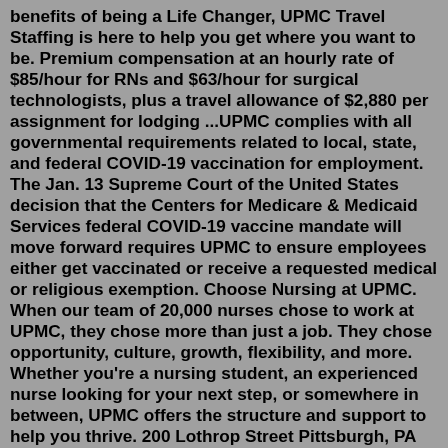benefits of being a Life Changer, UPMC Travel Staffing is here to help you get where you want to be. Premium compensation at an hourly rate of $85/hour for RNs and $63/hour for surgical technologists, plus a travel allowance of $2,880 per assignment for lodging ...UPMC complies with all governmental requirements related to local, state, and federal COVID-19 vaccination for employment. The Jan. 13 Supreme Court of the United States decision that the Centers for Medicare & Medicaid Services federal COVID-19 vaccine mandate will move forward requires UPMC to ensure employees either get vaccinated or receive a requested medical or religious exemption. Choose Nursing at UPMC. When our team of 20,000 nurses chose to work at UPMC, they chose more than just a job. They chose opportunity, culture, growth, flexibility, and more. Whether you're a nursing student, an experienced nurse looking for your next step, or somewhere in between, UPMC offers the structure and support to help you thrive. 200 Lothrop Street Pittsburgh, PA 15213-412...